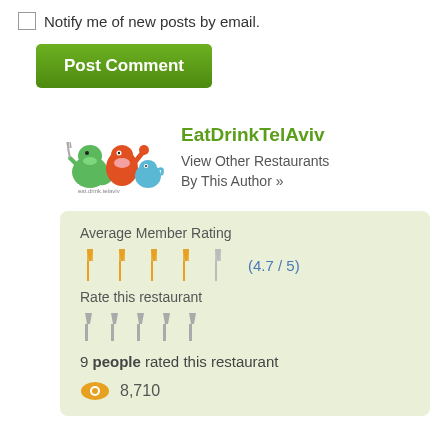Notify me of new posts by email.
Post Comment
EatDrinkTelAviv
View Other Restaurants By This Author »
Average Member Rating
(4.7 / 5)
Rate this restaurant
9 people rated this restaurant
8,710